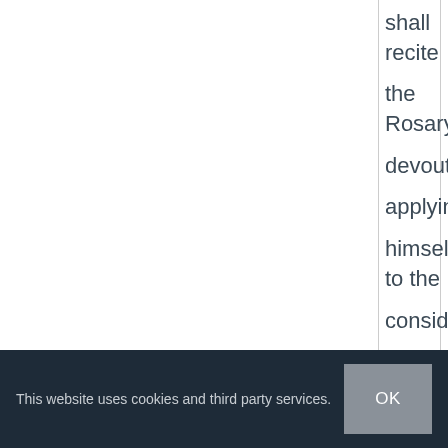shall recite the Rosary devoutly, applying himself to the consideration of its sacred mysteries shall never be conquered by misfortune.
This website uses cookies and third party services.